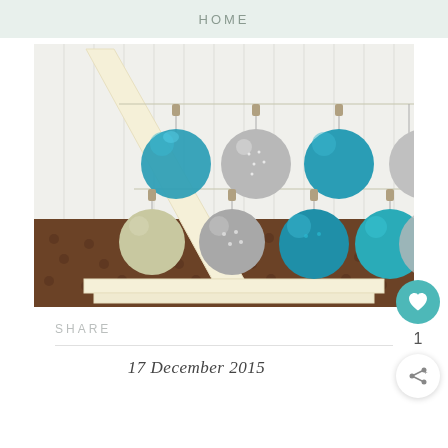HOME
[Figure (photo): A wooden triangular Christmas tree frame with teal/turquoise and silver glitter ornament balls hanging from strings, displayed on a brown polka-dot surface against a white beadboard background.]
SHARE
17 December 2015